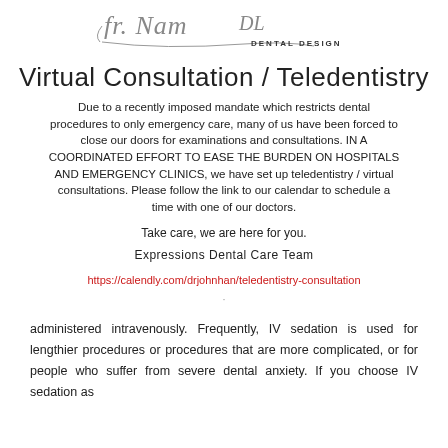[Figure (logo): Dental Design logo with stylized signature and 'DENTAL DESIGN' text]
Virtual Consultation / Teledentistry
Due to a recently imposed mandate which restricts dental procedures to only emergency care, many of us have been forced to close our doors for examinations and consultations. IN A COORDINATED EFFORT TO EASE THE BURDEN ON HOSPITALS AND EMERGENCY CLINICS, we have set up teledentistry / virtual consultations. Please follow the link to our calendar to schedule a time with one of our doctors.
Take care, we are here for you.
Expressions Dental Care Team
https://calendly.com/drjohnhan/teledentistry-consultation
administered intravenously. Frequently, IV sedation is used for lengthier procedures or procedures that are more complicated, or for people who suffer from severe dental anxiety. If you choose IV sedation as